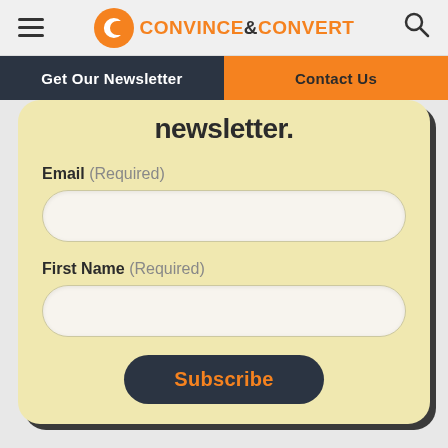CONVINCE&CONVERT
Get Our Newsletter | Contact Us
newsletter.
Email (Required)
First Name (Required)
Subscribe